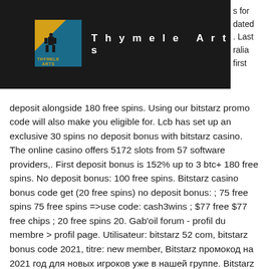[Figure (logo): Thymele Arts logo — yellow triangle with black figure illustration on blue/teal background square]
Thymele Arts
deposit alongside 180 free spins. Using our bitstarz promo code will also make you eligible for. Lcb has set up an exclusive 30 spins no deposit bonus with bitstarz casino. The online casino offers 5172 slots from 57 software providers,. First deposit bonus is 152% up to 3 btc+ 180 free spins. No deposit bonus: 100 free spins. Bitstarz casino bonus code get (20 free spins) no deposit bonus: ; 75 free spins 75 free spins =&gt;use code: cash3wins ; $77 free $77 free chips ; 20 free spins 20. Gab'oil forum - profil du membre &gt; profil page. Utilisateur: bitstarz 52 com, bitstarz bonus code 2021, titre: new member, Bitstarz промокод на 2021 год для новых игроков уже в нашей группе. Bitstarz no